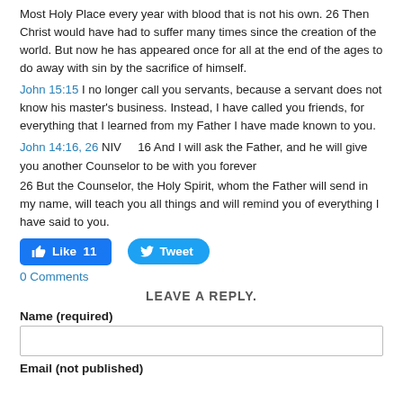Most Holy Place every year with blood that is not his own. 26 Then Christ would have had to suffer many times since the creation of the world. But now he has appeared once for all at the end of the ages to do away with sin by the sacrifice of himself.
John 15:15 I no longer call you servants, because a servant does not know his master's business. Instead, I have called you friends, for everything that I learned from my Father I have made known to you.
John 14:16, 26 NIV    16 And I will ask the Father, and he will give you another Counselor to be with you forever
26 But the Counselor, the Holy Spirit, whom the Father will send in my name, will teach you all things and will remind you of everything I have said to you.
[Figure (other): Social sharing buttons: Facebook Like (11) and Twitter Tweet]
0 Comments
LEAVE A REPLY.
Name (required)
Email (not published)